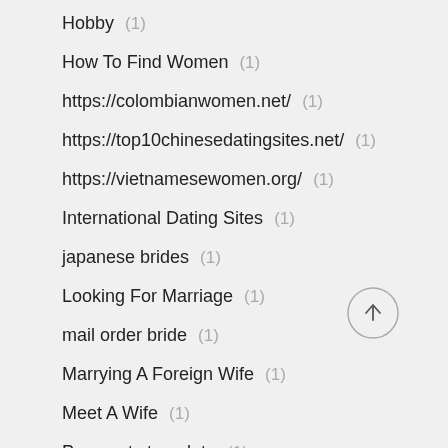Hobby (1)
How To Find Women (1)
https://colombianwomen.net/ (1)
https://top10chinesedatingsites.net/ (1)
https://vietnamesewomen.org/ (1)
International Dating Sites (1)
japanese brides (1)
Looking For Marriage (1)
mail order bride (1)
Marrying A Foreign Wife (1)
Meet A Wife (1)
Payments template (1)
Physical fitness (1)